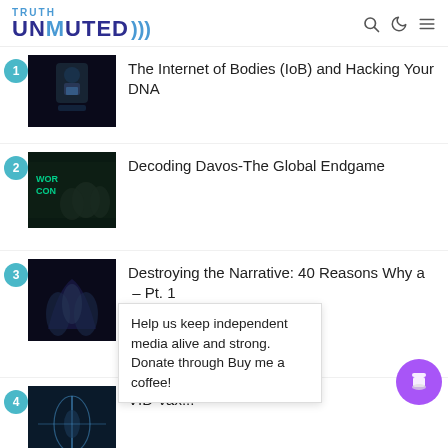TRUTH UNMUTED
The Internet of Bodies (IoB) and Hacking Your DNA
Decoding Davos-The Global Endgame
Destroying the Narrative: 40 Reasons Why a – Pt. 1
Help us keep independent media alive and strong. Donate through Buy me a coffee!
VID Vax...
5